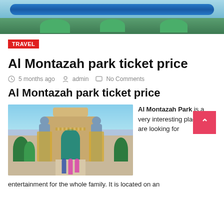[Figure (photo): Aerial view of water park with blue water slides and green trees]
TRAVEL
Al Montazah park ticket price
5 months ago  admin  No Comments
Al Montazah park ticket price
[Figure (photo): Entrance gate of Al Montazah Park with ancient Egyptian style statues and children running in front]
Al Montazah Park is a very interesting place if we are looking for entertainment for the whole family. It is located on an